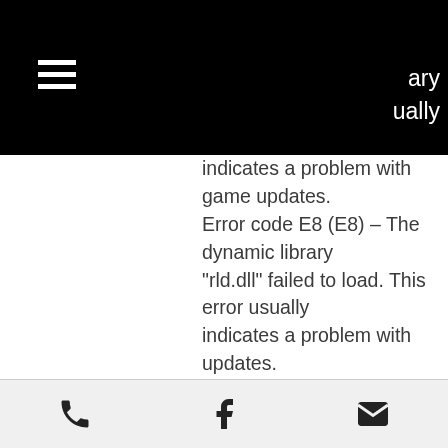ary
ually
indicates a problem with game updates.
Error code E8 (E8) – The dynamic library “rld.dll” failed to load. This error usually indicates a problem with updates.
Error code E9 (E8) – Dynamic library rld.dll failed to initialize. This error is returned if there is a problem with your update.
Please, if you have any question or problem, contact us on website. We will help you.To view this video please enable JavaScript, and consider upgrading to a web browser that supports HTML5 video
The U.S. fired a warning shot at North Korea as tensions on the peninsula rose over its latest nuclear test.
North Korea’s nuclear test site was targeted